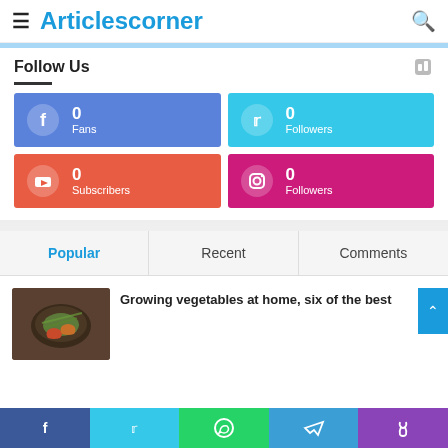Articlescorner
Follow Us
[Figure (infographic): Social media follow counts grid: Facebook 0 Fans, Twitter 0 Followers, YouTube 0 Subscribers, Instagram 0 Followers]
Popular | Recent | Comments
[Figure (photo): Food photo - vegetables in a bowl]
Growing vegetables at home, six of the best
Social share buttons: Facebook, Twitter, WhatsApp, Telegram, Phone